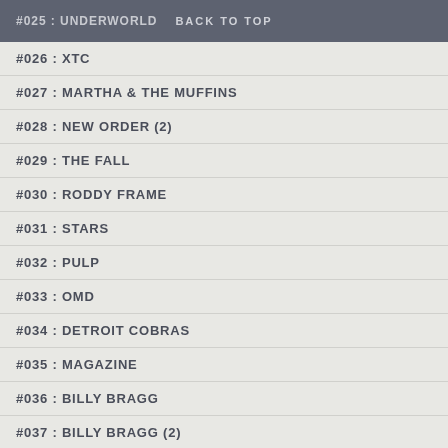#025 : UNDERWORLD   BACK TO TOP
#026 : XTC
#027 : MARTHA & THE MUFFINS
#028 : NEW ORDER (2)
#029 : THE FALL
#030 : RODDY FRAME
#031 : STARS
#032 : PULP
#033 : OMD
#034 : DETROIT COBRAS
#035 : MAGAZINE
#036 : BILLY BRAGG
#037 : BILLY BRAGG (2)